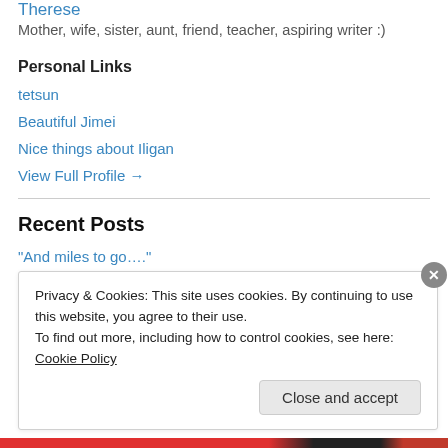Therese
Mother, wife, sister, aunt, friend, teacher, aspiring writer :)
Personal Links
tetsun
Beautiful Jimei
Nice things about Iligan
View Full Profile →
Recent Posts
"And miles to go…."
Privacy & Cookies: This site uses cookies. By continuing to use this website, you agree to their use.
To find out more, including how to control cookies, see here: Cookie Policy